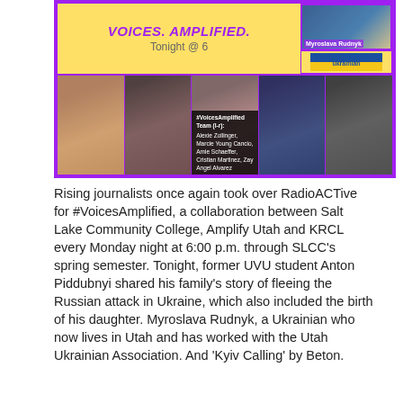[Figure (photo): Composite image with purple border. Top section has yellow background with 'VOICES. AMPLIFIED.' title in purple italic text and 'Tonight @ 6' subtitle. Top right shows Myroslava Rudnyk photo with name label and Ukrainian association logo. Bottom section shows five team member photos labeled: #VoicesAmplified Team (l-r): Alexie Zollinger, Marcie Young Cancio, Amie Schaeffer, Cristian Martinez, Zay Angel Alvarez.]
Rising journalists once again took over RadioACTive for #VoicesAmplified, a collaboration between Salt Lake Community College, Amplify Utah and KRCL every Monday night at 6:00 p.m. through SLCC's spring semester. Tonight, former UVU student Anton Piddubnyi shared his family's story of fleeing the Russian attack in Ukraine, which also included the birth of his daughter. Myroslava Rudnyk, a Ukrainian who now lives in Utah and has worked with the Utah Ukrainian Association. And 'Kyiv Calling' by Beton.